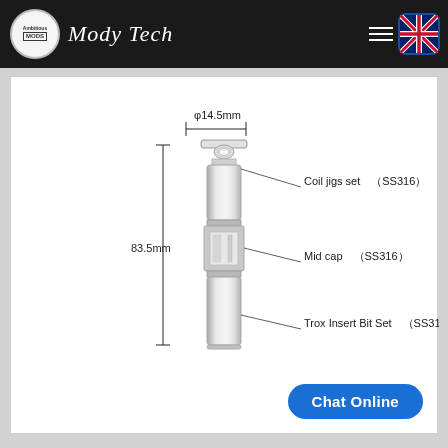[Figure (screenshot): Website navigation bar with Mody Tech logo, hamburger menu icon, and UK flag icon on dark background]
[Figure (engineering-diagram): Technical diagram of a cylindrical stainless steel tool (SS316) measuring 83.5mm height and 14.5mm diameter, with labeled parts: Coil jigs set (SS316), Mid cap (SS316), Trox Insert Bit Set (SS316)]
Chat Online